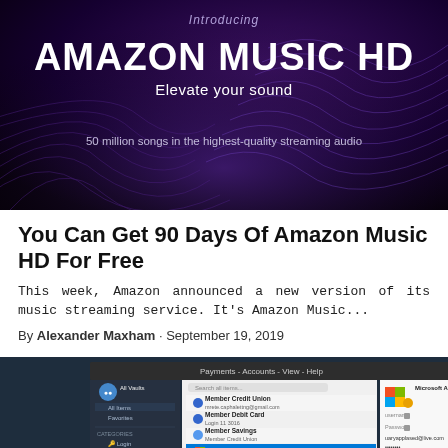[Figure (photo): Amazon Music HD promotional banner with dark purple/black background, wave patterns, white bold text reading AMAZON MUSIC HD, tagline Elevate your sound, and subtext 50 million songs in the highest-quality streaming audio]
You Can Get 90 Days Of Amazon Music HD For Free
This week, Amazon announced a new version of its music streaming service. It's Amazon Music...
By Alexander Maxham · September 19, 2019
[Figure (screenshot): Screenshot of a Windows application (password manager) showing a list of accounts including Member Credit Union, Member Debit Card, Member Savings, Microsoft Account (Live) selected in blue highlight, and Mary's Garage Door, with Microsoft Account details visible on the right panel]